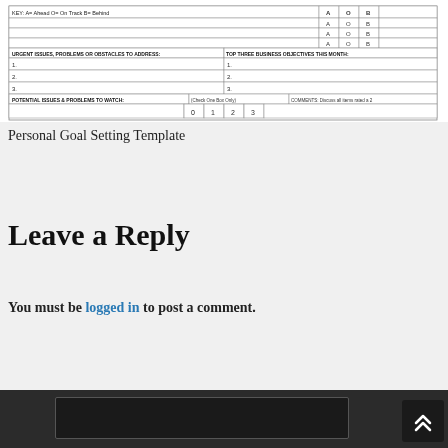[Figure (other): A scanned form image showing a goal-tracking/business scorecard template with sections for KEY (A=Ahead, O=On Track, B=Behind), URGENT ISSUES PROBLEMS OR OBSTACLES TO ADDRESS, TOP THREE BUSINESS OBJECTIVES THIS MONTH, and POTENTIAL ISSUES & PROBLEMS TO WATCH with a checkbox rating system.]
Personal Goal Setting Template
Leave a Reply
You must be logged in to post a comment.